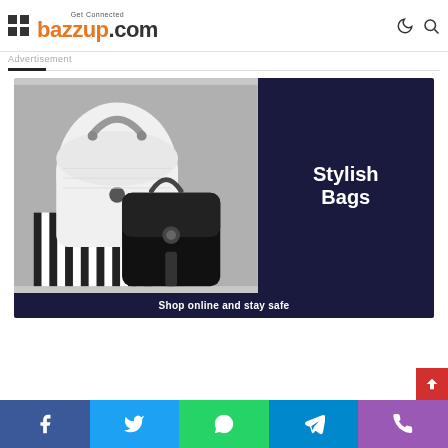Get Connected bazzup.com
Advertisement
[Figure (illustration): Advertisement banner for stylish bags showing a white handbag and a black backpack on striped box background, with dark navy right panel showing 'Stylish Bags' text and bottom bar 'Shop online and stay safe']
Social sharing bar: Facebook, Twitter, WhatsApp, Telegram, Phone